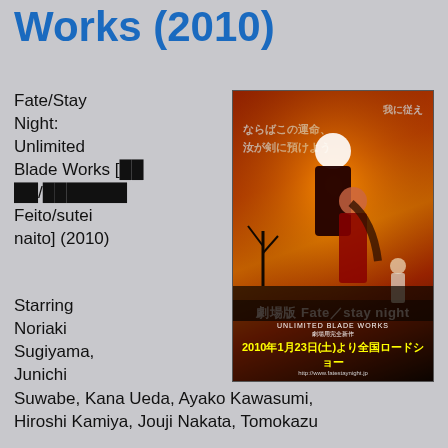Works (2010)
Fate/Stay Night: Unlimited Blade Works [フェイト/ステイナイト Feito/sutei naito] (2010)
[Figure (illustration): Movie poster for Fate/Stay Night: Unlimited Blade Works (2010). Features anime characters on a fiery red/orange background with Japanese text, the title 'Fate/stay night UNLIMITED BLADE WORKS', and release date 2010年1月23日.]
Starring Noriaki Sugiyama, Junichi
Suwabe, Kana Ueda, Ayako Kawasumi, Hiroshi Kamiya, Jouji Nakata, Tomokazu